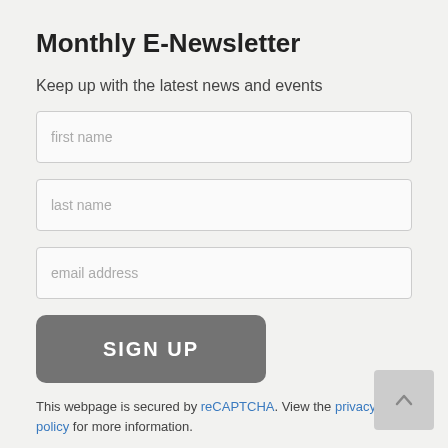Monthly E-Newsletter
Keep up with the latest news and events
[Figure (screenshot): Form input field with placeholder text 'first name']
[Figure (screenshot): Form input field with placeholder text 'last name']
[Figure (screenshot): Form input field with placeholder text 'email address']
[Figure (screenshot): Sign Up button, gray rounded rectangle with white text 'SIGN UP']
This webpage is secured by reCAPTCHA. View the privacy policy for more information.